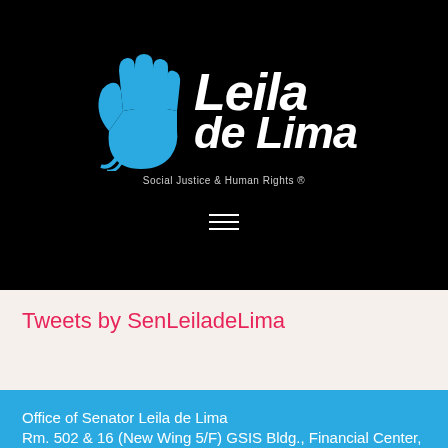[Figure (logo): Leila de Lima logo with hand graphic and tagline 'Social Justice & Human Rights']
Tweets by SenLeiladeLima
Office of Senator Leila de Lima
Rm. 502 & 16 (New Wing 5/F) GSIS Bldg., Financial Center, Diokno Blvd., Pasay City
Trunk Lines:
(632) 552-6601 to 70 local no. 5750
Direct Lines:
897-8689 / (Rm. 16) 897-8589 /local 8619